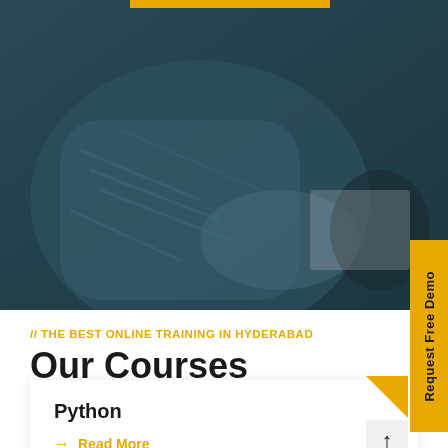[Figure (photo): Dark teal-tinted photo of a person in a textured sweater working on a laptop or device, viewed from above/side angle]
[Figure (other): Vertical golden yellow side tab with rotated text 'Request Free Demo']
// THE BEST ONLINE TRAINING IN HYDERABAD
Our Courses
[Figure (other): Golden yellow corner triangle decoration top-right of course card]
Python
→ Read More